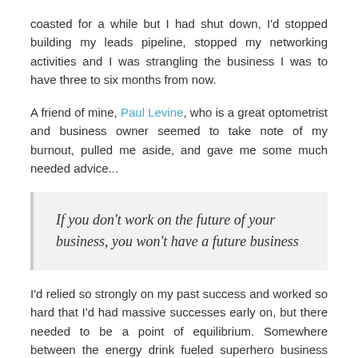coasted for a while but I had shut down, I'd stopped building my leads pipeline, stopped my networking activities and I was strangling the business I was to have three to six months from now.
A friend of mine, Paul Levine, who is a great optometrist and business owner seemed to take note of my burnout, pulled me aside, and gave me some much needed advice...
If you don't work on the future of your business, you won't have a future business
I'd relied so strongly on my past success and worked so hard that I'd had massive successes early on, but there needed to be a point of equilibrium. Somewhere between the energy drink fueled superhero business owner and the